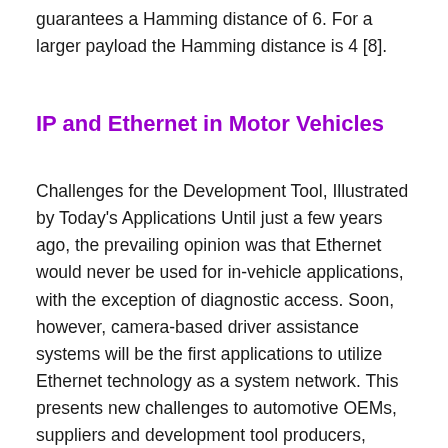guarantees a Hamming distance of 6. For a larger payload the Hamming distance is 4 [8].
IP and Ethernet in Motor Vehicles
Challenges for the Development Tool, Illustrated by Today's Applications Until just a few years ago, the prevailing opinion was that Ethernet would never be used for in-vehicle applications, with the exception of diagnostic access. Soon, however, camera-based driver assistance systems will be the first applications to utilize Ethernet technology as a system network. This presents new challenges to automotive OEMs, suppliers and development tool producers, because the Internet Protocol and Ethernet represent a new network technology for motor vehicles. Nonetheless, many of the issues can